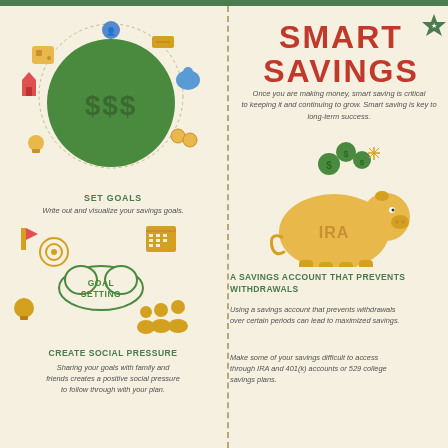SMART SAVINGS
Once you are making money, smart saving is critical to keeping it and continuing to grow. Smart saving is key to long-term success.
[Figure (illustration): Large green circle with '$$$' text and various financial icons around it (piggy bank, house, safe, gold bar, coins)]
SET GOALS
Write out and visualize your savings goals.
[Figure (illustration): Goal setting illustration with cloud containing 'GOAL SETTING', calendar, target/goal icon, light bulb, and group of people icons]
CREATE SOCIAL PRESSURE
Sharing your goals with family and friends creates a positive social pressure to follow through with your plan.
[Figure (illustration): Yellow piggy bank labeled 'IRA' with green coins flying above it and sparkles]
A SAVINGS ACCOUNT THAT PREVENTS WITHDRAWALS
Using a savings account that prevents withdrawals over certain periods can lead to maximized savings.
Make some of your savings difficult to access through IRA and 401(k) accounts or 529 college savings plans.